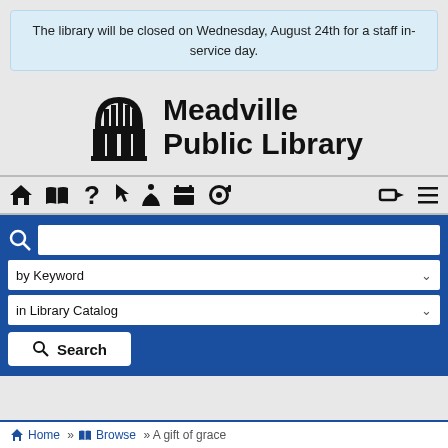The library will be closed on Wednesday, August 24th for a staff in-service day.
[Figure (logo): Meadville Public Library logo with an arched window/building icon in black]
[Figure (infographic): Navigation bar with icons: home, open book, question mark, cursor, person with arms up, calendar, palette, login arrow, hamburger menu]
[Figure (screenshot): Search interface with a text input, by Keyword dropdown, in Library Catalog dropdown, and a Search button]
Home » Browse » A gift of grace